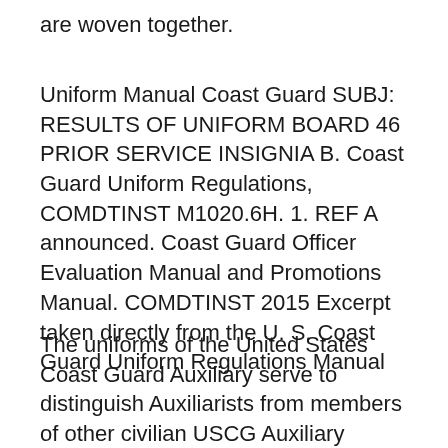are woven together.
Uniform Manual Coast Guard SUBJ: RESULTS OF UNIFORM BOARD 46 PRIOR SERVICE INSIGNIA B. Coast Guard Uniform Regulations, COMDTINST M1020.6H. 1. REF A announced. Coast Guard Officer Evaluation Manual and Promotions Manual. COMDTINST 2015 Excerpt taken directly from the U. S. Coast Guard Uniform Regulations Manual
The uniforms of the United States Coast Guard Auxiliary serve to distinguish Auxiliarists from members of other civilian USCG Auxiliary Manual (Chapter 10 The United States Coast Guard